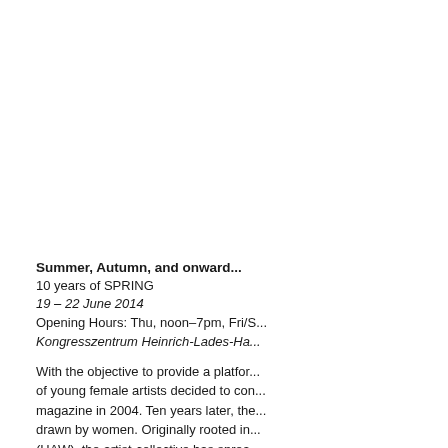Summer, Autumn, and onward...
10 years of SPRING
19 – 22 June 2014
Opening Hours: Thu, noon–7pm, Fri/S...
Kongresszentrum Heinrich-Lades-Ha...
With the objective to provide a platform... of young female artists decided to con... magazine in 2004. Ten years later, the... drawn by women. Originally rooted in... (HAW), the artist-collective has sprea... SPRING is a playground where the a... language, no creative boundaries - ev... exhibition will be just as diverse and c... opens up before the visitors and invite...
Web: www.springmagazin.de